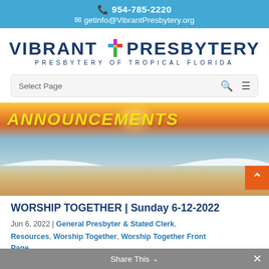📞 954-785-2220  ✉ getinfo@VibrantPresbytery.org
[Figure (logo): Vibrant Presbytery logo — text reading VIBRANT PRESBYTERY with a colorful cross icon, subtitle: PRESBYTERY OF TROPICAL FLORIDA]
Select Page
[Figure (photo): Beach/ocean sunset photo with ANNOUNCEMENTS text overlay in yellow italic bold letters]
WORSHIP TOGETHER | Sunday 6-12-2022
Jun 6, 2022 | General Presbyter & Stated Clerk, Resources, Worship Together, Worship Together Front Page
Share This